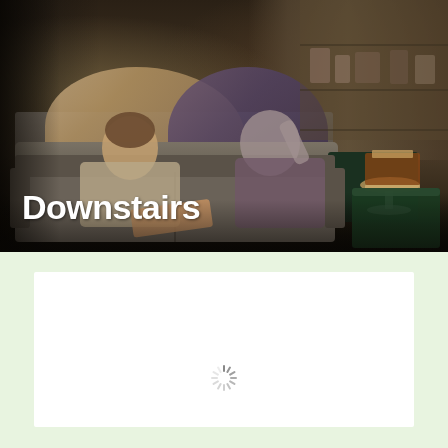[Figure (photo): A photo of two people sitting on a grey couch in a cluttered workshop/garage setting. A woman in a plaid jacket and tan pants sits on the left, a man in a purple shirt sits on the right eating something. A dark green bin and a cake on a stand are visible on the right. Shelves with tools and items fill the background. The title 'Downstairs' is overlaid in bold white text at the bottom left.]
Downstairs
[Figure (other): A white content box on a light green background with a loading spinner (sunburst/radial lines icon) in the center, indicating content is loading.]